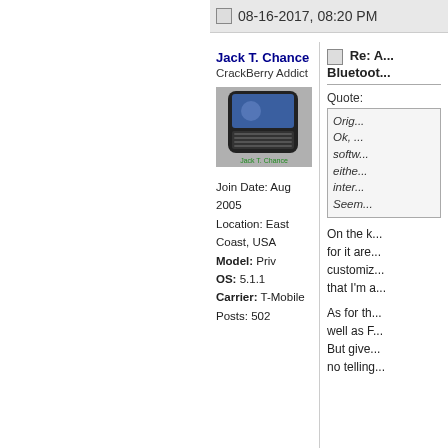08-16-2017, 08:20 PM
Jack T. Chance
CrackBerry Addict
Join Date: Aug 2005
Location: East Coast, USA
Model: Priv
OS: 5.1.1
Carrier: T-Mobile
Posts: 502
[Figure (photo): Avatar image of a BlackBerry phone with 'Jack T. Chance' text overlay]
Re: A... Bluetoot...
Quote:
Originally Posted by ...
Ok, ... softw... eithe... inter... Seem...
On the k... for it are... customiz... that I'm a...
As for th... well as F... But give... no telling...